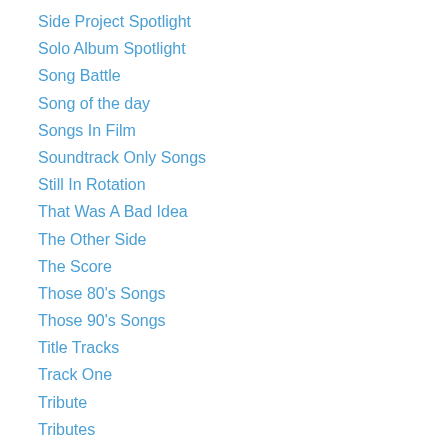Side Project Spotlight
Solo Album Spotlight
Song Battle
Song of the day
Songs In Film
Soundtrack Only Songs
Still In Rotation
That Was A Bad Idea
The Other Side
The Score
Those 80's Songs
Those 90's Songs
Title Tracks
Track One
Tribute
Tributes
Ultimate Set List
Uncategorized
Underrated Albums
Underrated and Influential